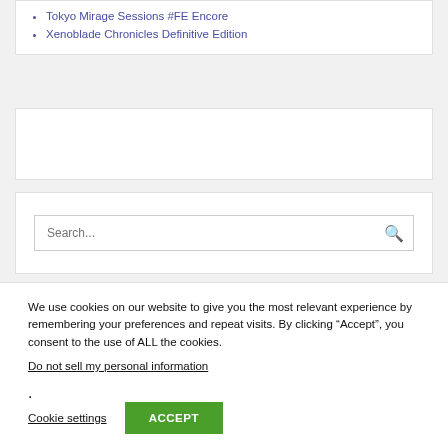Tokyo Mirage Sessions #FE Encore
Xenoblade Chronicles Definitive Edition
[Figure (screenshot): Empty white content card]
[Figure (screenshot): Search box with red magnifying glass icon and placeholder text 'Search...']
[Figure (screenshot): Empty white content card]
We use cookies on our website to give you the most relevant experience by remembering your preferences and repeat visits. By clicking “Accept”, you consent to the use of ALL the cookies.
Do not sell my personal information.
Cookie settings   ACCEPT